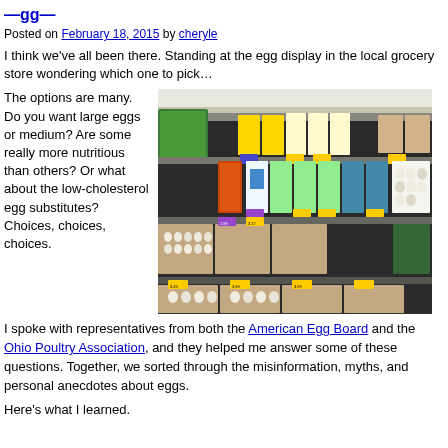Eggs
Posted on February 18, 2015 by cheryle
I think we've all been there. Standing at the egg display in the local grocery store wondering which one to pick…
The options are many. Do you want large eggs or medium? Are some really more nutritious than others? Or what about the low-cholesterol egg substitutes? Choices, choices, choices.
[Figure (photo): Grocery store egg and dairy display shelf showing various egg cartons, egg substitutes in cartons, and eggs in trays on multiple shelves with price tags visible.]
I spoke with representatives from both the American Egg Board and the Ohio Poultry Association, and they helped me answer some of these questions. Together, we sorted through the misinformation, myths, and personal anecdotes about eggs.
Here's what I learned.